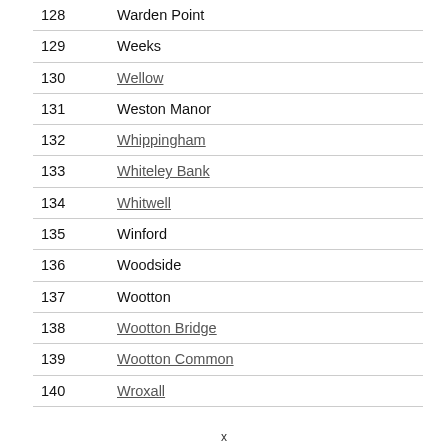| Number | Name |
| --- | --- |
| 128 | Warden Point |
| 129 | Weeks |
| 130 | Wellow |
| 131 | Weston Manor |
| 132 | Whippingham |
| 133 | Whiteley Bank |
| 134 | Whitwell |
| 135 | Winford |
| 136 | Woodside |
| 137 | Wootton |
| 138 | Wootton Bridge |
| 139 | Wootton Common |
| 140 | Wroxall |
x